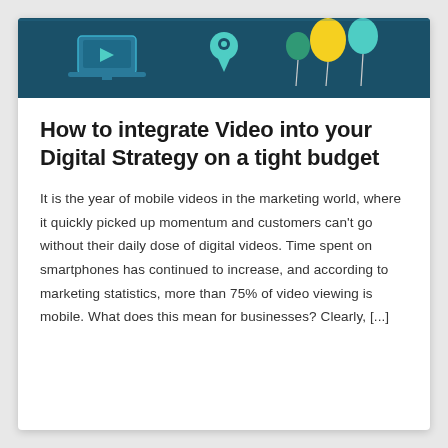[Figure (illustration): Header banner with teal/dark blue background showing digital marketing icons: laptop with play button, pin/location marker, and balloons on strings]
How to integrate Video into your Digital Strategy on a tight budget
It is the year of mobile videos in the marketing world, where it quickly picked up momentum and customers can't go without their daily dose of digital videos. Time spent on smartphones has continued to increase, and according to marketing statistics, more than 75% of video viewing is mobile. What does this mean for businesses? Clearly, [...]